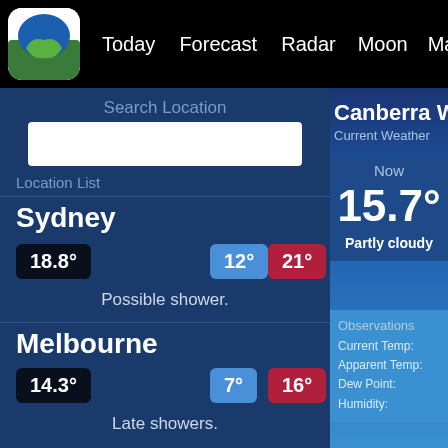Today  Forecast  Radar  Moon  Marine  Statistics
Search Location
Location List
Sydney
18.8°  12°  21°
Possible shower.
Melbourne
14.3°  7°  16°
Late showers.
Canberra W
Current Weather
Now
15.7°
Partly cloudy
Observations
Current Temp:
Apparent Temp:
Dew Point:
Humidity: